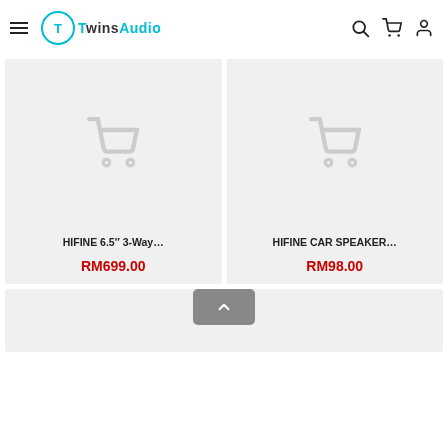TWINSAUDIO — navigation header with menu, logo, search, cart, account icons
[Figure (screenshot): Product card: HIFINE 6.5" 3-Way... placeholder shopping cart image, price RM699.00]
[Figure (screenshot): Product card: HIFINE CAR SPEAKER... placeholder shopping cart image, price RM98.00]
HIFINE 6.5" 3-Way...
RM699.00
HIFINE CAR SPEAKER...
RM98.00
[Figure (screenshot): Partial product card visible at bottom of page, with scroll-to-top button overlay]